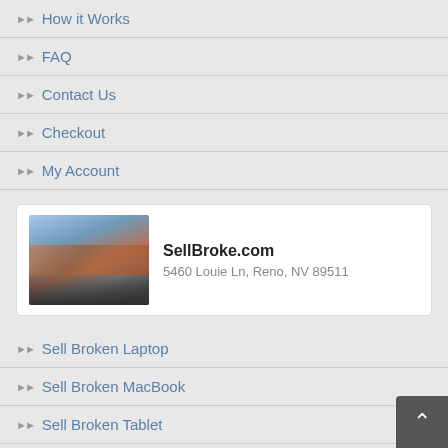How it Works
FAQ
Contact Us
Checkout
My Account
[Figure (photo): Exterior photo of a commercial building, used as a location image for SellBroke.com]
SellBroke.com
5460 Louie Ln, Reno, NV 89511
Sell Broken Laptop
Sell Broken MacBook
Sell Broken Tablet